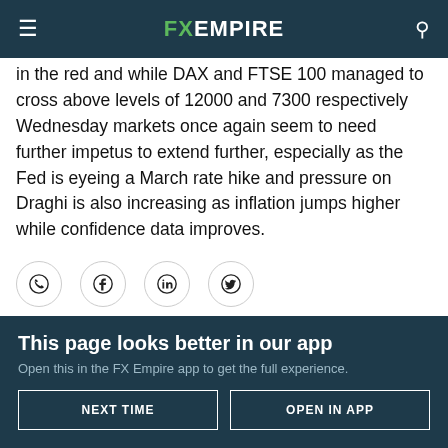FX EMPIRE
in the red and while DAX and FTSE 100 managed to cross above levels of 12000 and 7300 respectively Wednesday markets once again seem to need further impetus to extend further, especially as the Fed is eyeing a March rate hike and pressure on Draghi is also increasing as inflation jumps higher while confidence data improves.
[Figure (infographic): Social sharing icons: WhatsApp, Facebook, LinkedIn, Twitter]
Don't miss a thing! Sign up for a daily update delivered to your inbox
This page looks better in our app
Open this in the FX Empire app to get the full experience.
NEXT TIME   OPEN IN APP